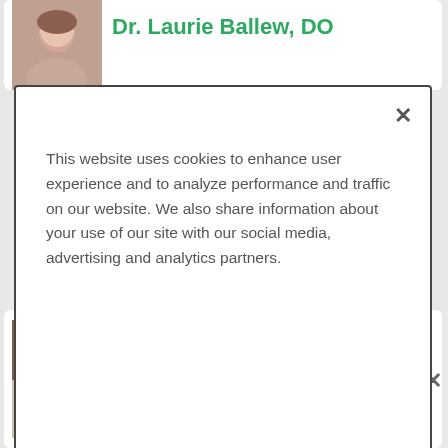Dr. Laurie Ballew, DO
This website uses cookies to enhance user experience and to analyze performance and traffic on our website. We also share information about your use of our site with our social media, advertising and analytics partners.
Accept Cookies
Dr. Osama Ali, MD
Age 46 | Psychiatry
ADVERTISEMENT
[Figure (screenshot): Healthgrades advertisement banner: 5-star doctors really do exist. Find Yours Today]
[Figure (photo): Photo of Dr. Laurie Ballew, DO]
[Figure (photo): Photo of Dr. Osama Ali, MD]